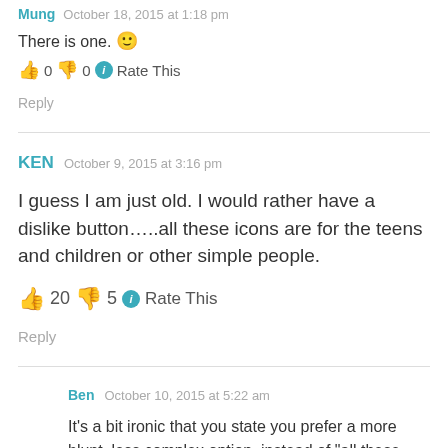Mung  October 18, 2015 at 1:18 pm
There is one. 🙂
👍 0  👎 0  ℹ Rate This
Reply
KEN  October 9, 2015 at 3:16 pm
I guess I am just old. I would rather have a dislike button…..all these icons are for the teens and children or other simple people.
👍 20  👎 5  ℹ Rate This
Reply
Ben  October 10, 2015 at 5:22 am
It's a bit ironic that you state you prefer a more blunt, less complex option, instead of "all these icons," which you